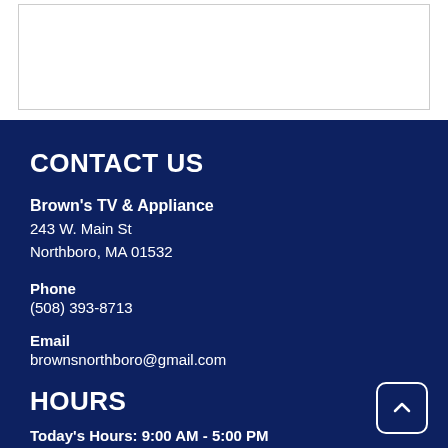[Figure (other): White rectangular bordered box at top of page (content area placeholder)]
CONTACT US
Brown's TV & Appliance
243 W. Main St
Northboro, MA 01532
Phone
(508) 393-8713
Email
brownsnorthboro@gmail.com
HOURS
Today's Hours: 9:00 AM - 5:00 PM